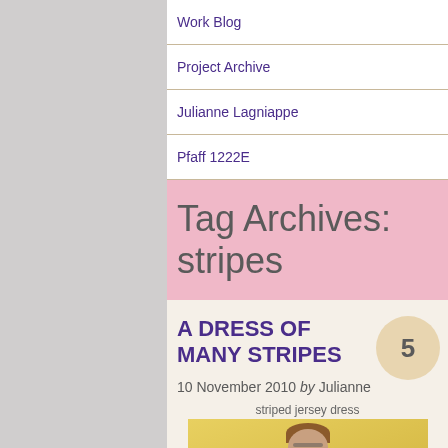Work Blog
Project Archive
Julianne Lagniappe
Pfaff 1222E
Tag Archives: stripes
A DRESS OF MANY STRIPES
5
10 November 2010 by Julianne
[Figure (photo): A woman wearing a striped jersey dress standing against a yellow wall]